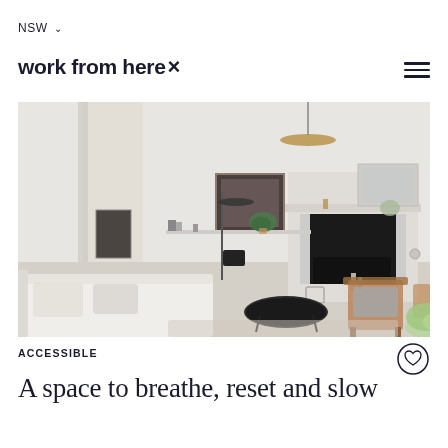NSW
work from here ×
[Figure (photo): Bright Scandinavian-style living room interior with a white sofa, wooden armchairs, a black fireplace, framed artwork, hanging pendant lamp, and indoor plants on a light wood floor.]
ACCESSIBLE
A space to breathe, reset and slow